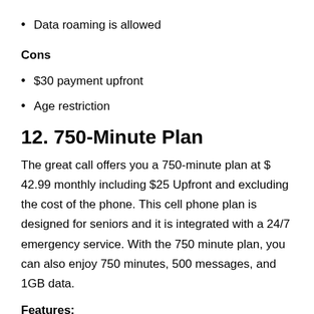Data roaming is allowed
Cons
$30 payment upfront
Age restriction
12. 750-Minute Plan
The great call offers you a 750-minute plan at $ 42.99 monthly including $25 Upfront and excluding the cost of the phone. This cell phone plan is designed for seniors and it is integrated with a 24/7 emergency service. With the 750 minute plan, you can also enjoy 750 minutes, 500 messages, and 1GB data.
Features:
24/7 emergency service